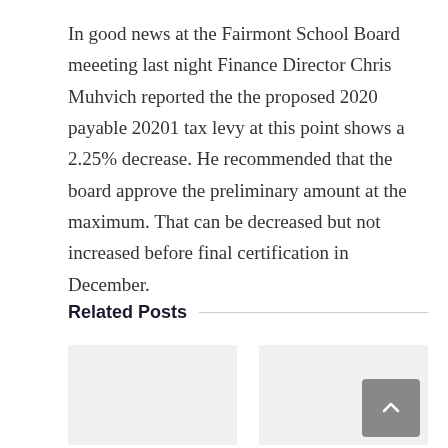In good news at the Fairmont School Board meeeting last night Finance Director Chris Muhvich reported the the proposed 2020 payable 20201 tax levy at this point shows a 2.25% decrease. He recommended that the board approve the preliminary amount at the maximum. That can be decreased but not increased before final certification in December.
Related Posts
[Figure (other): Two placeholder image cards for related posts. Right card has a scroll-to-top button (upward chevron on gray square).]